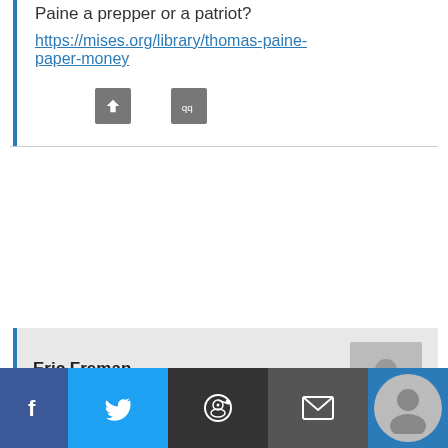Paine a prepper or a patriot?
https://mises.org/library/thomas-paine-paper-money
Eric Freman
JUNE 23, 2017, 2:07 PM
Shut up.
[Figure (infographic): Footer bar with social share icons: Facebook (blue), Twitter (light blue), Reddit (dark gray), Email (gray), and a profile avatar on a blue background]